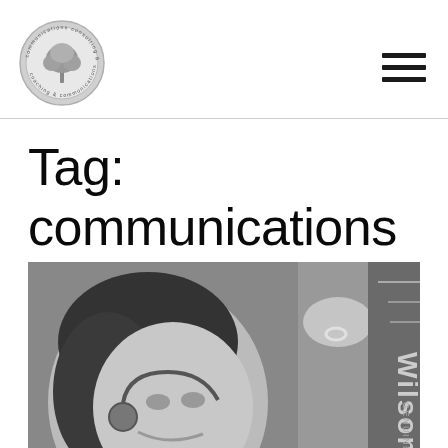[Figure (logo): Circular logo with a tree and text reading 'communications consulting & coaching' around the border, metallic grey and white tones]
[Figure (other): Hamburger menu icon (three horizontal lines) in dark color, top right of header]
Tag: communications
[Figure (photo): Black and white close-up photo of a smiling woman with dark hair wearing a headset/earpiece, holding a Wilson leather football/ball. Shot from a low angle.]